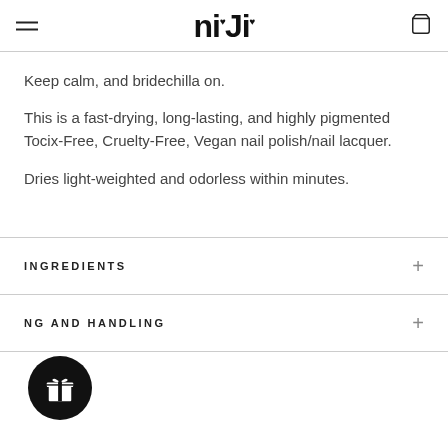NiJi
Keep calm, and bridechilla on.
This is a fast-drying, long-lasting, and highly pigmented Tocix-Free, Cruelty-Free, Vegan nail polish/nail lacquer.
Dries light-weighted and odorless within minutes.
INGREDIENTS
NG AND HANDLING